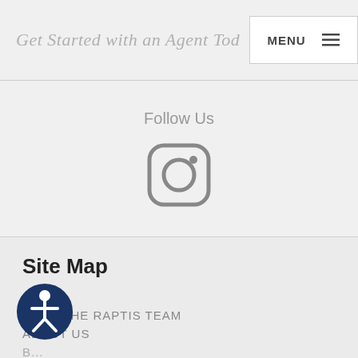Get Started with an Agent Today
Follow Us
[Figure (logo): Instagram icon — rounded square with camera outline and dot, gray color]
Site Map
HOME
MEET THE RAPTIS TEAM
ABOUT US
[Figure (illustration): Accessibility icon — circle with person/wheelchair symbol in dark blue]